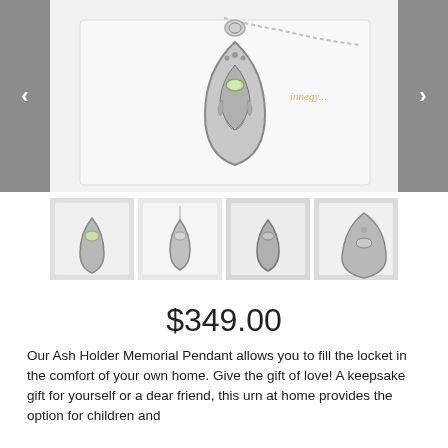[Figure (photo): Close-up photo of an ornate silver teardrop-shaped ash holder memorial pendant with filigree detailing and a light green gemstone, displayed in a white jewelry box with a silver chain. Navigation arrows on left and right sides.]
[Figure (photo): Thumbnail 1: Silver teardrop pendant with filigree in a white box at angle]
[Figure (photo): Thumbnail 2: Silver teardrop pendant hanging on chain in white box]
[Figure (photo): Thumbnail 3: Silver teardrop pendant in white box, darker view]
[Figure (photo): Thumbnail 4: Close-up of silver filigree pendant detail]
$349.00
Our  Ash Holder Memorial Pendant allows you to fill the locket in the comfort of your own home. Give the gift of love! A keepsake gift for yourself or a dear friend, this urn at home provides the option for children and